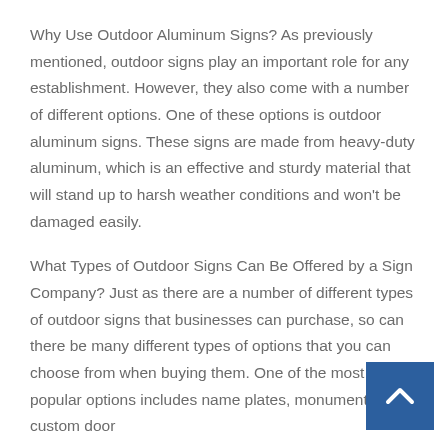Why Use Outdoor Aluminum Signs? As previously mentioned, outdoor signs play an important role for any establishment. However, they also come with a number of different options. One of these options is outdoor aluminum signs. These signs are made from heavy-duty aluminum, which is an effective and sturdy material that will stand up to harsh weather conditions and won't be damaged easily.
What Types of Outdoor Signs Can Be Offered by a Sign Company? Just as there are a number of different types of outdoor signs that businesses can purchase, so can there be many different types of options that you can choose from when buying them. One of the most popular options includes name plates, monument signs, custom door